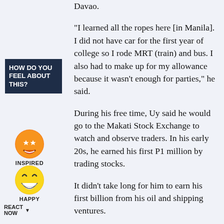Davao.
[Figure (infographic): Sidebar widget: 'HOW DO YOU FEEL ABOUT THIS?' with emoji reactions. 'Inspired' emoji (orange star-eyes face) and 'Happy' emoji (yellow grinning face), plus 'REACT NOW' label with dropdown arrow.]
“I learned all the ropes here [in Manila]. I did not have car for the first year of college so I rode MRT (train) and bus. I also had to make up for my allowance because it wasn’t enough for parties,” he said.
During his free time, Uy said he would go to the Makati Stock Exchange to watch and observe traders. In his early 20s, he earned his first P1 million by trading stocks.
It didn’t take long for him to earn his first billion from his oil and shipping ventures.
Uy is on a roll. After petroleum as well as shipping and logistics, he’s planning to grow his tourism and hospitality businesses in the next 3